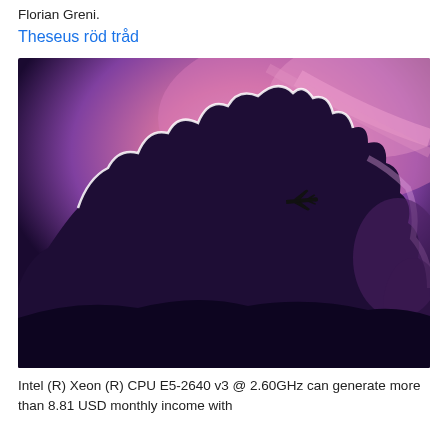Florian Greni.
Theseus röd tråd
[Figure (photo): Dramatic sunset photo of large dark storm clouds with pink and purple sky, a small airplane silhouette visible against the bright cloud edges]
Intel (R) Xeon (R) CPU E5-2640 v3 @ 2.60GHz can generate more than 8.81 USD monthly income with ...2009.20 Hashes/s to use the XMRo Benchm Yo...